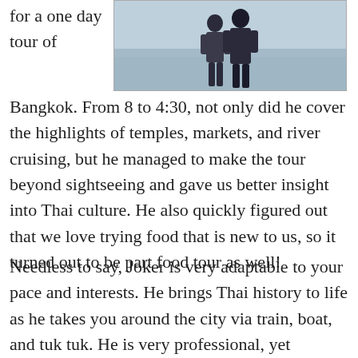for a one day tour of
[Figure (photo): Black and white photo of two people standing together outdoors]
Bangkok. From 8 to 4:30, not only did he cover the highlights of temples, markets, and river cruising, but he managed to make the tour beyond sightseeing and gave us better insight into Thai culture. He also quickly figured out that we love trying food that is new to us, so it turned out to be part food tour as well!
Needless to say, Joker is very adaptable to your pace and interests. He brings Thai history to life as he takes you around the city via train, boat, and tuk tuk. He is very professional, yet friendly. He also goes the extra mile for his...